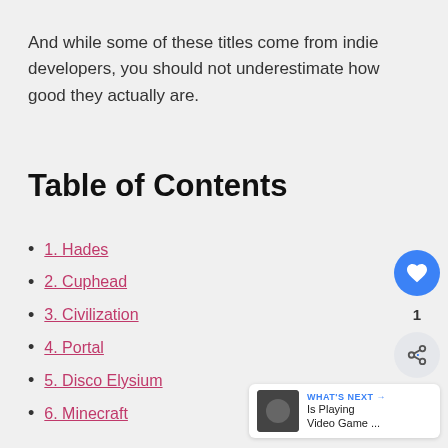And while some of these titles come from indie developers, you should not underestimate how good they actually are.
Table of Contents
1. Hades
2. Cuphead
3. Civilization
4. Portal
5. Disco Elysium
6. Minecraft